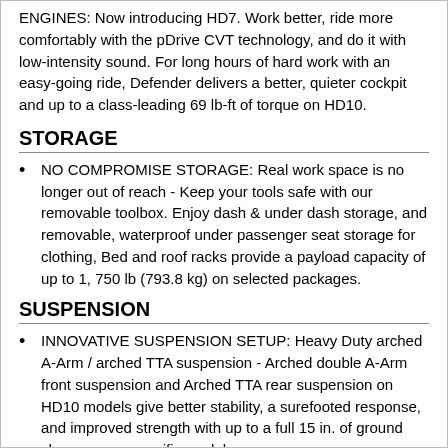ENGINES: Now introducing HD7. Work better, ride more comfortably with the pDrive CVT technology, and do it with low-intensity sound. For long hours of hard work with an easy-going ride, Defender delivers a better, quieter cockpit and up to a class-leading 69 lb-ft of torque on HD10.
STORAGE
NO COMPROMISE STORAGE: Real work space is no longer out of reach - Keep your tools safe with our removable toolbox. Enjoy dash & under dash storage, and removable, waterproof under passenger seat storage for clothing, Bed and roof racks provide a payload capacity of up to 1, 750 lb (793.8 kg) on selected packages.
SUSPENSION
INNOVATIVE SUSPENSION SETUP: Heavy Duty arched A-Arm / arched TTA suspension - Arched double A-Arm front suspension and Arched TTA rear suspension on HD10 models give better stability, a surefooted response, and improved strength with up to a full 15 in. of ground clearance on specific models.